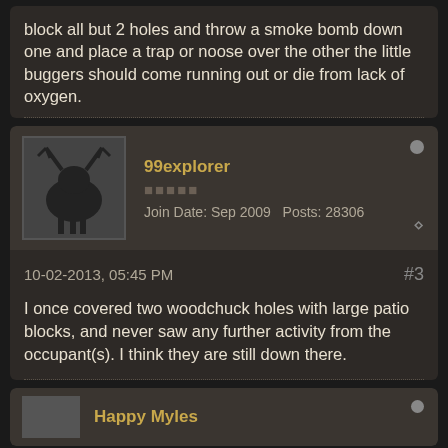block all but 2 holes and throw a smoke bomb down one and place a trap or noose over the other the little buggers should come running out or die from lack of oxygen.
99explorer
■■■■■
Join Date: Sep 2009   Posts: 28306
10-02-2013, 05:45 PM
#3
I once covered two woodchuck holes with large patio blocks, and never saw any further activity from the occupant(s). I think they are still down there.
Happy Myles